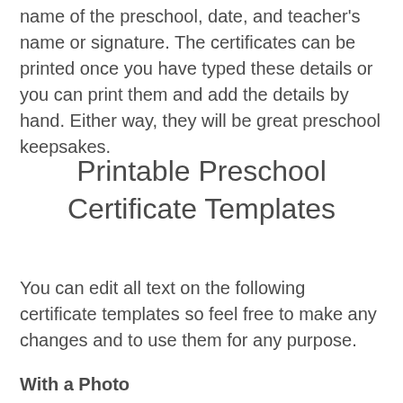name of the preschool, date, and teacher's name or signature. The certificates can be printed once you have typed these details or you can print them and add the details by hand. Either way, they will be great preschool keepsakes.
Printable Preschool Certificate Templates
You can edit all text on the following certificate templates so feel free to make any changes and to use them for any purpose.
With a Photo